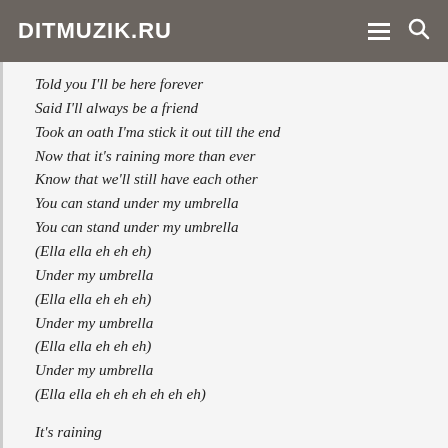DITMUZIK.RU
Told you I'll be here forever
Said I'll always be a friend
Took an oath I'ma stick it out till the end
Now that it's raining more than ever
Know that we'll still have each other
You can stand under my umbrella
You can stand under my umbrella
(Ella ella eh eh eh)
Under my umbrella
(Ella ella eh eh eh)
Under my umbrella
(Ella ella eh eh eh)
Under my umbrella
(Ella ella eh eh eh eh eh eh)

It's raining
Ooh baby it's raining